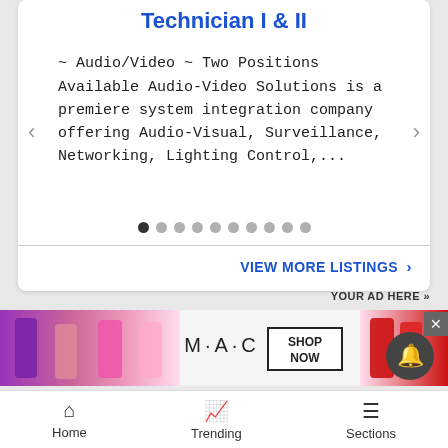Technician I & II
~ Audio/Video ~ Two Positions Available Audio-Video Solutions is a premiere system integration company offering Audio-Visual, Surveillance, Networking, Lighting Control,...
[Figure (screenshot): Carousel navigation dots, 10 dots total, first one active/filled]
VIEW MORE LISTINGS ›
YOUR AD HERE »
[Figure (photo): MAC cosmetics advertisement showing colorful lipsticks (purple, pink, red), MAC logo, and SHOP NOW button]
Home   Trending   Sections